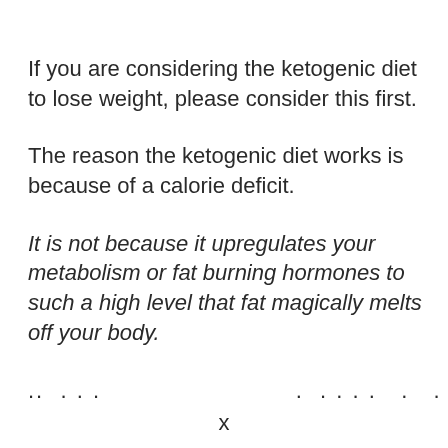If you are considering the ketogenic diet to lose weight, please consider this first.
The reason the ketogenic diet works is because of a calorie deficit.
It is not because it upregulates your metabolism or fat burning hormones to such a high level that fat magically melts off your body.
.. . . .                          . . . . .   . . .
x